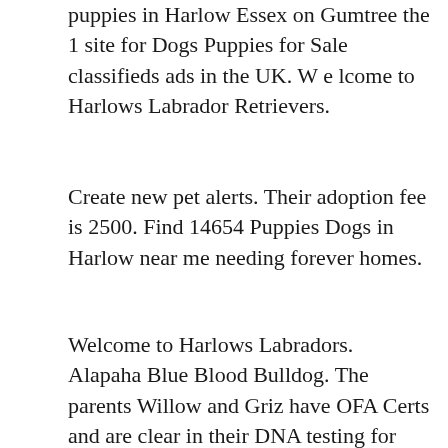puppies in Harlow Essex on Gumtree the 1 site for Dogs Puppies for Sale classifieds ads in the UK. W e lcome to Harlows Labrador Retrievers.
Create new pet alerts. Their adoption fee is 2500. Find 14654 Puppies Dogs in Harlow near me needing forever homes.
Welcome to Harlows Labradors. Alapaha Blue Blood Bulldog. The parents Willow and Griz have OFA Certs and are clear in their DNA testing for EIC PRA and CNM.
Dad is a KC registered cream dark fox red